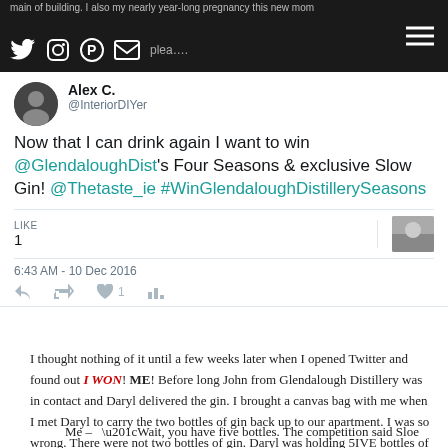main of building. I also my nearly year-long pregnancy this new mom once, and it's a plea....
[Figure (screenshot): Twitter/social media navigation bar with Twitter, Instagram, Pinterest, email icons and hamburger menu]
Alex C. @InteriorDIYer
Now that I can drink again I want to win @GlendaloughDist's Four Seasons & exclusive Slow Gin! @Thetaste_ie #WinGlendaloughDistillerySeasons
LIKE 1 | [image] | 6:43 AM - 10 Dec 2016
I thought nothing of it until a few weeks later when I opened Twitter and found out I WON! ME! Before long John from Glendalough Distillery was in contact and Daryl delivered the gin. I brought a canvas bag with me when I met Daryl to carry the two bottles of gin back up to our apartment. I was so wrong. There were not two bottles of gin. Daryl was holding 5IVE bottles of gin.
Me – “Wait, you have five bottles. The competition said Sloe